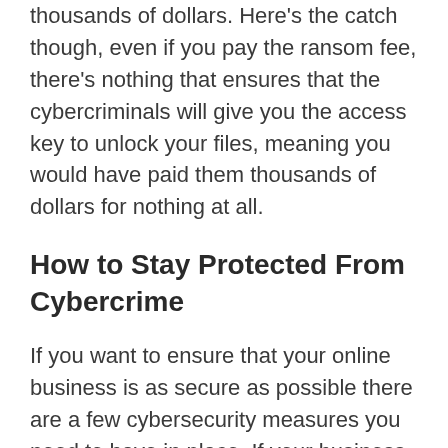thousands of dollars. Here's the catch though, even if you pay the ransom fee, there's nothing that ensures that the cybercriminals will give you the access key to unlock your files, meaning you would have paid them thousands of dollars for nothing at all.
How to Stay Protected From Cybercrime
If you want to ensure that your online business is as secure as possible there are a few cybersecurity measures you need to have in place. If your business has a weaknesses, you need to